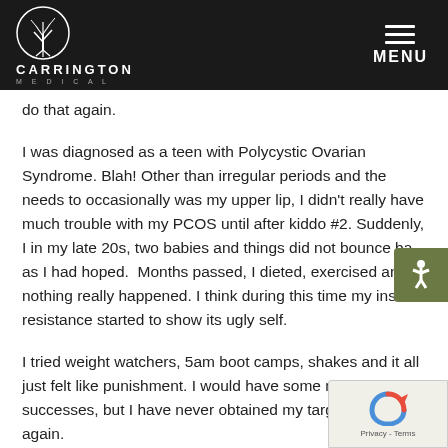[Figure (logo): Carrington Medical logo with tree emblem in circle, white text on dark background, with hamburger menu and MENU label]
do that again.
I was diagnosed as a teen with Polycystic Ovarian Syndrome. Blah! Other than irregular periods and the needs to occasionally was my upper lip, I didn't really have much trouble with my PCOS until after kiddo #2. Suddenly, I in my late 20s, two babies and things did not bounce ba as I had hoped.  Months passed, I dieted, exercised and nothing really happened. I think during this time my insulin resistance started to show its ugly self.
I tried weight watchers, 5am boot camps, shakes and it all just felt like punishment. I would have some minor successes, but I have never obtained my target weig again.